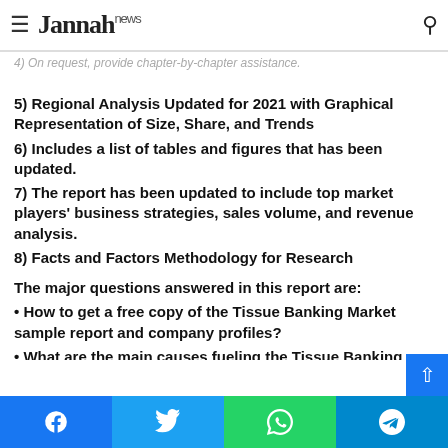Jannah news
4) On request, provide chapter-by-chapter assistance.
5) Regional Analysis Updated for 2021 with Graphical Representation of Size, Share, and Trends
6) Includes a list of tables and figures that has been updated.
7) The report has been updated to include top market players' business strategies, sales volume, and revenue analysis.
8) Facts and Factors Methodology for Research
The major questions answered in this report are:
• How to get a free copy of the Tissue Banking Market sample report and company profiles?
• What are the main causes fueling the Tissue Banking Market's expansion?
Facebook Twitter WhatsApp Telegram